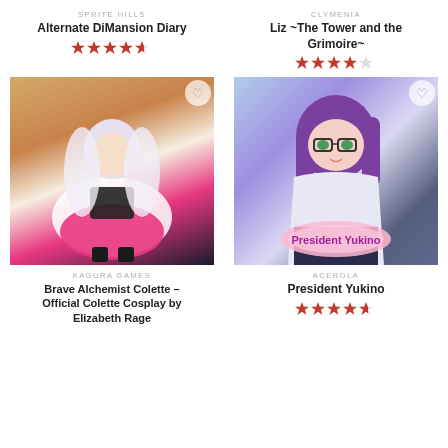SPRITE HILLS
Alternate DiMansion Diary
[Figure (other): 4.5 star rating (red stars)]
CLYMENIA
Liz ~The Tower and the Grimoire~
[Figure (other): 4 star rating (red stars)]
[Figure (photo): Cosplay photo of woman in white cape and pink skirt costume with white hair, 'Brave Alchemist Colette' character by Elizabeth Rage]
[Figure (illustration): Anime illustration of purple-haired girl with glasses, labeled 'President Yukino']
KAGURA GAMES
Brave Alchemist Colette – Official Colette Cosplay by Elizabeth Rage
ACEROLA
President Yukino
[Figure (other): 4.5 star rating (red stars)]